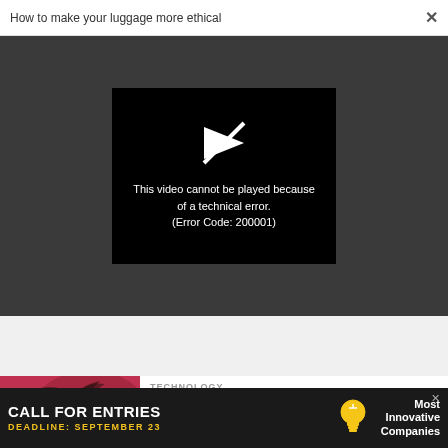How to make your luggage more ethical  ×
[Figure (screenshot): Video player showing error message on dark background. Error box reads: This video cannot be played because of a technical error. (Error Code: 200001)]
This video cannot be played because of a technical error. (Error Code: 200001)
[Figure (photo): Red/pink background with dark palm tree silhouette]
TECHNOLOGY
Comcast and Charter face a grim
[Figure (infographic): Advertisement banner: CALL FOR ENTRIES, DEADLINE: SEPTEMBER 23, Most Innovative Companies, with lightbulb icon]